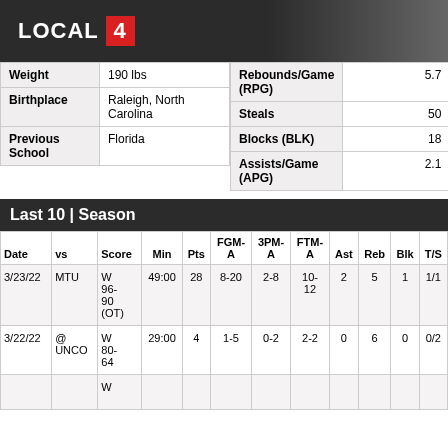LOCAL 4
| Weight | 190 lbs |
| --- | --- |
| Birthplace | Raleigh, North Carolina |
| Previous School | Florida |
| Rebounds/Game (RPG) | 5.7 |
| --- | --- |
| Steals | 50 |
| Blocks (BLK) | 18 |
| Assists/Game (APG) | 2.1 |
Last 10 | Season
| Date | vs | Score | Min | Pts | FGM-A | 3PM-A | FTM-A | Ast | Reb | Blk | T/S |
| --- | --- | --- | --- | --- | --- | --- | --- | --- | --- | --- | --- |
| 3/23/22 | MTU | W 96-90 (OT) | 49:00 | 28 | 8-20 | 2-8 | 10-12 | 2 | 5 | 1 | 1/1 |
| 3/22/22 | @ UNCO | W 80-64 | 29:00 | 4 | 1-5 | 0-2 | 2-2 | 0 | 6 | 0 | 0/2 |
|  |  | W |  |  |  |  |  |  |  |  |  |